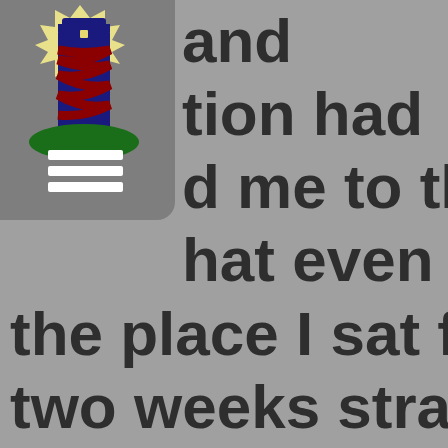[Figure (logo): Lighthouse logo with dark blue tower, red spiral stripe, green base, yellow starburst behind the top, with white horizontal lines (menu icon) overlaid on a rounded grey rectangle]
and tion had d me to the hat even from the place I sat for two weeks straight I was in reality making a mark.